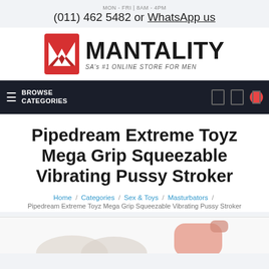MON - FRI | 8AM - 4PM
(011) 462 5482 or WhatsApp us
[Figure (logo): Mantality logo: red square with white M icon, bold MANTALITY text, tagline SA's #1 ONLINE STORE FOR MEN]
[Figure (screenshot): Navigation bar: dark background, BROWSE CATEGORIES text, hamburger icon, search/user/cart icons with red notification dot]
Pipedream Extreme Toyz Mega Grip Squeezable Vibrating Pussy Stroker
Home / Categories / Sex & Toys / Masturbators / Pipedream Extreme Toyz Mega Grip Squeezable Vibrating Pussy Stroker
[Figure (photo): Partial product image at the bottom of the page, partially cropped]